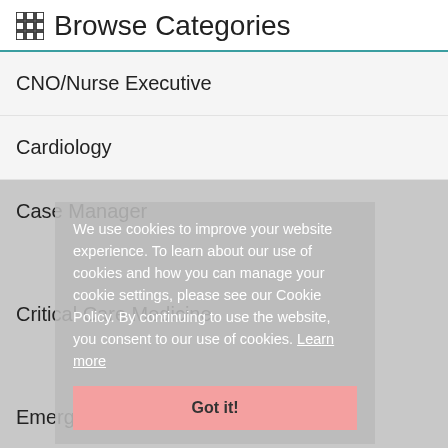Browse Categories
CNO/Nurse Executive
Cardiology
Case Manager
Critical Care Medicine
Emergency Services
Faculty
We use cookies to improve your website experience. To learn about our use of cookies and how you can manage your cookie settings, please see our Cookie Policy. By continuing to use the website, you consent to our use of cookies. Learn more
Got it!